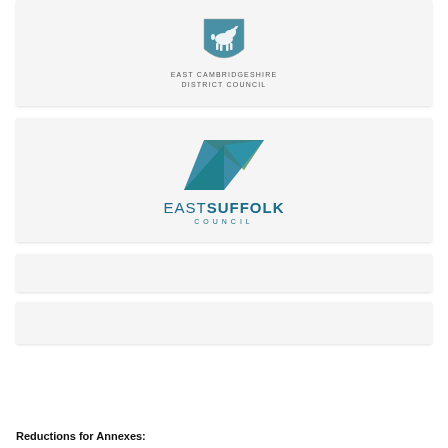[Figure (logo): East Cambridgeshire District Council logo with shield crest and text]
[Figure (logo): East Suffolk Council logo with geometric triangle shape in gold, green, and teal, with text EASTSUFFOLK COUNCIL]
[Figure (other): Empty grey placeholder box]
[Figure (other): Empty grey placeholder box]
Reductions for Annexes: